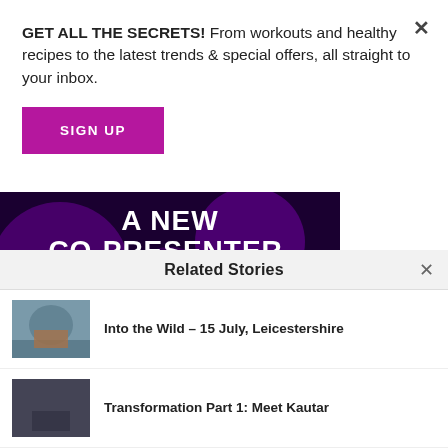GET ALL THE SECRETS! From workouts and healthy recipes to the latest trends & special offers, all straight to your inbox.
[Figure (other): Purple/dark background promotional image with large white text reading: A NEW CO-PRESENTER. IF YOU THINK YOU CAN MOTIVATE THE NATION, PLEASE GET IN TOUCH!]
Related Stories
Into the Wild – 15 July, Leicestershire
Transformation Part 1: Meet Kautar